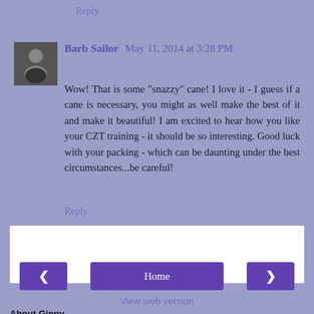Reply
Barb Sailor  May 11, 2014 at 3:28 PM
Wow! That is some "snazzy" cane! I love it - I guess if a cane is necessary, you might as well make the best of it and make it beautiful! I am excited to hear how you like your CZT training - it should be so interesting. Good luck with your packing - which can be daunting under the best circumstances...be careful!
Reply
Enter Comment
Home
View web version
About Ginny